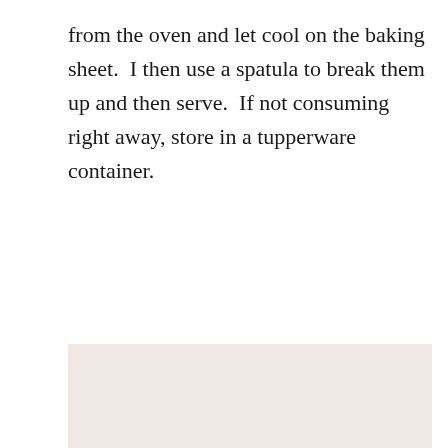from the oven and let cool on the baking sheet. I then use a spatula to break them up and then serve.  If not consuming right away, store in a tupperware container.
[Figure (photo): Close-up photo of a white bowl with orange/red batter or sauce residue and sliced almonds, with a whisk visible at the bottom of the bowl. Dark background visible in upper right corner.]